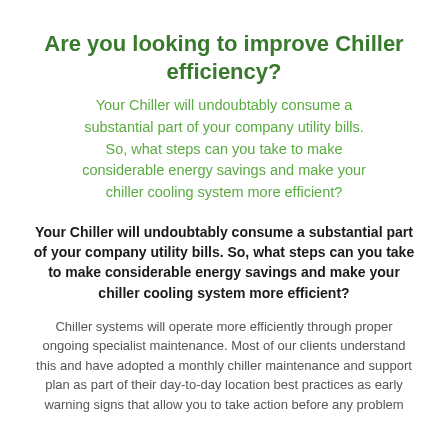Are you looking to improve Chiller efficiency?
Your Chiller will undoubtably consume a substantial part of your company utility bills. So, what steps can you take to make considerable energy savings and make your chiller cooling system more efficient?
Your Chiller will undoubtably consume a substantial part of your company utility bills. So, what steps can you take to make considerable energy savings and make your chiller cooling system more efficient?
Chiller systems will operate more efficiently through proper ongoing specialist maintenance. Most of our clients understand this and have adopted a monthly chiller maintenance and support plan as part of their day-to-day location best practices as early warning signs that allow you to take action before any problem